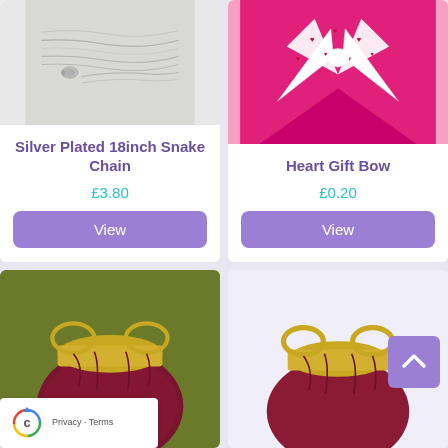[Figure (photo): Silver plated snake chain necklace on grey fabric background]
Silver Plated 18inch Snake Chain
£3.80
View
[Figure (photo): Pink heart gift bow on pink background with white ribbon and red heart patterns]
Heart Gift Bow
£0.20
View
[Figure (photo): Dark red/burgundy drawstring bag with gold trim on olive background]
[Figure (photo): Dark red/burgundy velvet drawstring bag with gold trim]
[Figure (logo): reCAPTCHA logo and Privacy/Terms links]